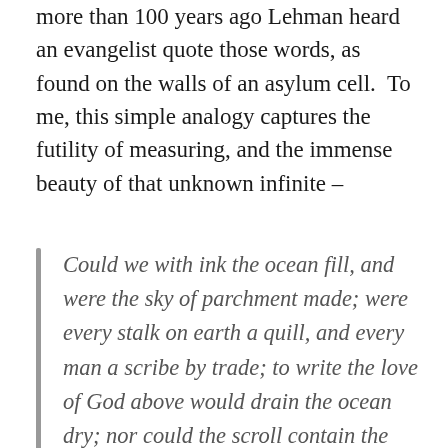more than 100 years ago Lehman heard an evangelist quote those words, as found on the walls of an asylum cell.  To me, this simple analogy captures the futility of measuring, and the immense beauty of that unknown infinite –
Could we with ink the ocean fill, and were the sky of parchment made; were every stalk on earth a quill, and every man a scribe by trade; to write the love of God above would drain the ocean dry; nor could the scroll contain the